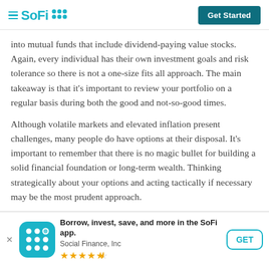SoFi — Get Started
into mutual funds that include dividend-paying value stocks. Again, every individual has their own investment goals and risk tolerance so there is not a one-size fits all approach. The main takeaway is that it's important to review your portfolio on a regular basis during both the good and not-so-good times.
Although volatile markets and elevated inflation present challenges, many people do have options at their disposal. It's important to remember that there is no magic bullet for building a solid financial foundation or long-term wealth. Thinking strategically about your options and acting tactically if necessary may be the most prudent approach.
[Figure (screenshot): SoFi app download banner with icon, tagline 'Borrow, invest, save, and more in the SoFi app.', subtitle 'Social Finance, Inc', star rating (4.5 stars), and GET button]